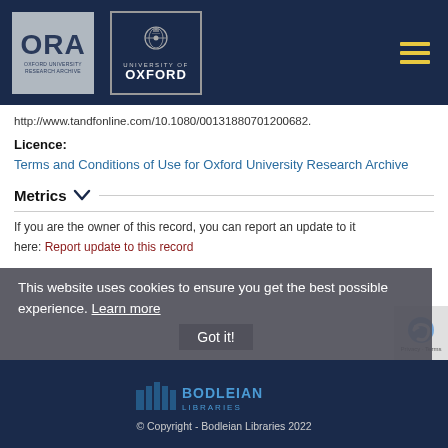[Figure (logo): ORA Oxford University Research Archive logo and University of Oxford logo on dark navy header bar with hamburger menu icon]
http://www.tandfonline.com/10.1080/00131880701200682.
Licence:
Terms and Conditions of Use for Oxford University Research Archive
Metrics
If you are the owner of this record, you can report an update to it here:
Report update to this record
This website uses cookies to ensure you get the best possible experience. Learn more
[Figure (logo): Bodleian Libraries logo on dark navy background]
© Copyright - Bodleian Libraries 2022